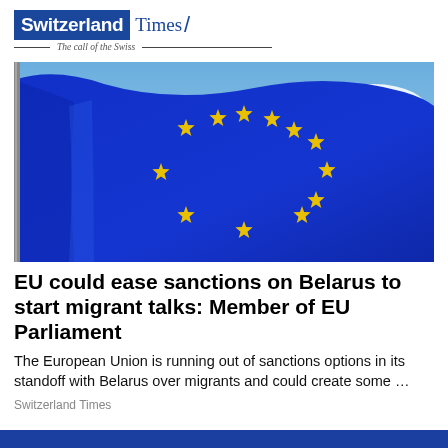Switzerland Times — The call of the Swiss
[Figure (photo): EU flag waving against a blue sky, showing the circle of 12 gold stars on a blue background.]
EU could ease sanctions on Belarus to start migrant talks: Member of EU Parliament
The European Union is running out of sanctions options in its standoff with Belarus over migrants and could create some …
Switzerland Times